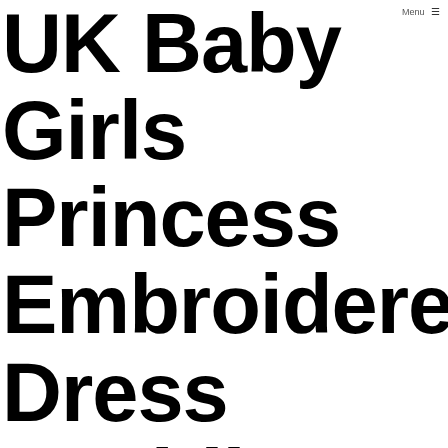Menu ≡
UK Baby Girls Princess Embroidered Dress Wedding Party Christening Baptism Dres…